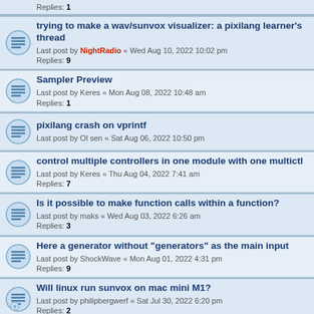Replies: 1
trying to make a wav/sunvox visualizer: a pixilang learner's thread
Last post by NightRadio « Wed Aug 10, 2022 10:02 pm
Replies: 9
Sampler Preview
Last post by Keres « Mon Aug 08, 2022 10:48 am
Replies: 1
pixilang crash on vprintf
Last post by Ol sen « Sat Aug 06, 2022 10:50 pm
control multiple controllers in one module with one multictl
Last post by Keres « Thu Aug 04, 2022 7:41 am
Replies: 7
Is it possible to make function calls within a function?
Last post by maks « Wed Aug 03, 2022 6:26 am
Replies: 3
Here a generator without "generators" as the main input
Last post by ShockWave « Mon Aug 01, 2022 4:31 pm
Replies: 9
Will linux run sunvox on mac mini M1?
Last post by philipbergwerf « Sat Jul 30, 2022 6:20 pm
Replies: 2
Monostable
Last post by Keres « Sat Jul 30, 2022 2:18 am
read 'clm ' block from wav file?
Last post by NightRadio « Fri Jul 29, 2022 9:17 pm
Replies: 9